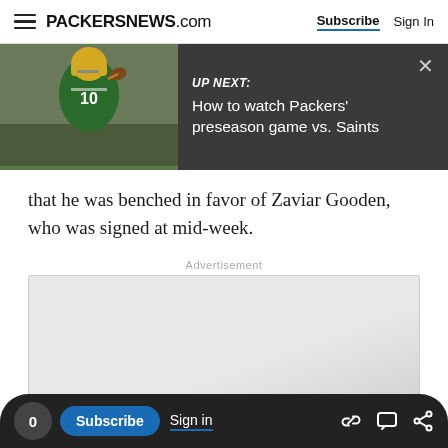PACKERSNEWS.com — Subscribe | Sign In
[Figure (screenshot): UP NEXT banner with a Green Bay Packers quarterback (#10) in green uniform throwing a football, on a dark gray background. Text reads 'UP NEXT: How to watch Packers' preseason game vs. Saints' with an X close button.]
that he was benched in favor of Zaviar Gooden, who was signed at mid-week.
Advertisement
[Figure (other): Empty advertisement placeholder box with a light gray gradient background.]
0  Subscribe  Sign in  [link icon] [chat icon] [share icon]